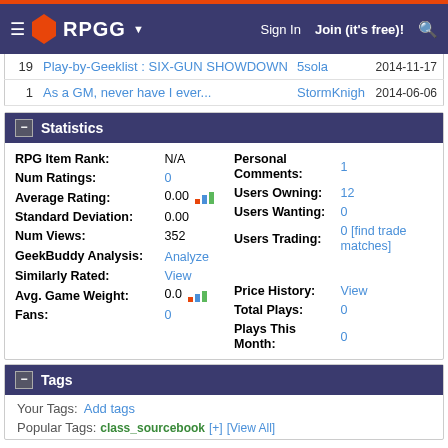RPGG — Sign In  Join (it's free)!
| # | Title | User | Date |
| --- | --- | --- | --- |
| 19 | Play-by-Geeklist : SIX-GUN SHOWDOWN | 5sola | 2014-11-17 |
| 1 | As a GM, never have I ever... | StormKnigh | 2014-06-06 |
Statistics
| Stat | Value |
| --- | --- |
| RPG Item Rank: | N/A |
| Num Ratings: | 0 |
| Average Rating: | 0.00 |
| Standard Deviation: | 0.00 |
| Num Views: | 352 |
| GeekBuddy Analysis: | Analyze |
| Similarly Rated: | View |
| Avg. Game Weight: | 0.0 |
| Fans: | 0 |
| Personal Comments: | 1 |
| Users Owning: | 12 |
| Users Wanting: | 0 |
| Users Trading: | 0 [find trade matches] |
| Price History: | View |
| Total Plays: | 0 |
| Plays This Month: | 0 |
Tags
Your Tags: Add tags
Popular Tags: class_sourcebook [+] [View All]